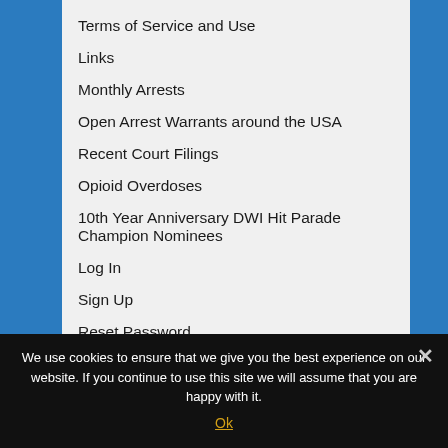Terms of Service and Use
Links
Monthly Arrests
Open Arrest Warrants around the USA
Recent Court Filings
Opioid Overdoses
10th Year Anniversary DWI Hit Parade Champion Nominees
Log In
Sign Up
Reset Password
My Account
We use cookies to ensure that we give you the best experience on our website. If you continue to use this site we will assume that you are happy with it.
Ok